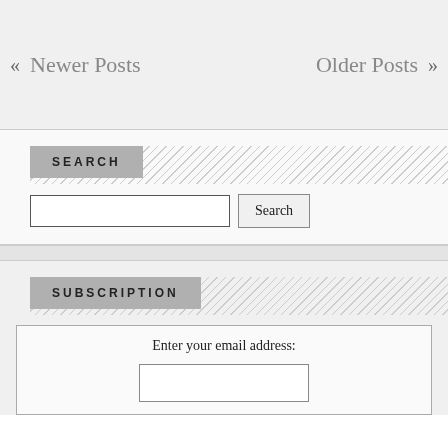« Newer Posts    Older Posts »
SEARCH
Search [input field] Search [button]
SUBSCRIPTION
Enter your email address: [email input]